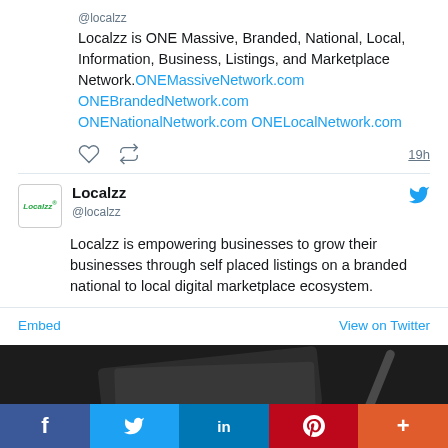@localzz
Localzz is ONE Massive, Branded, National, Local, Information, Business, Listings, and Marketplace Network. ONEMassiveNetwork.com ONEBrandedNetwork.com ONENationalNetwork.com ONELocalNetwork.com
19h
Localzz @localzz
Localzz is empowering businesses to grow their businesses through self placed listings on a branded national to local digital marketplace ecosystem.
Embed   View on Twitter
[Figure (photo): Dark background photo showing tablet and pen]
f  Twitter  in  P  +